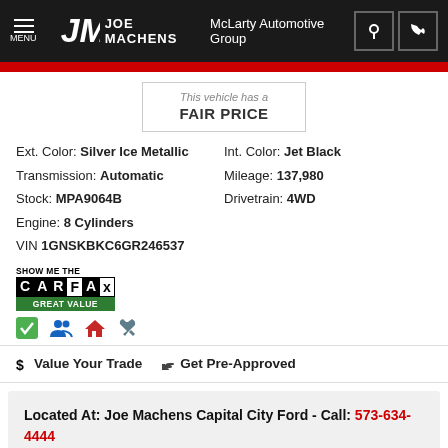JOE MACHENS McLarty Automotive Group
This vehicle has a FAIR PRICE
Ext. Color: Silver Ice Metallic   Int. Color: Jet Black
Transmission: Automatic   Mileage: 137,980
Stock: MPA9064B   Drivetrain: 4WD
Engine: 8 Cylinders
VIN 1GNSKBKC6GR246537
[Figure (logo): SHOW ME THE CARFAX - GREAT VALUE badge]
$ Value Your Trade   👍 Get Pre-Approved
Located At: Joe Machens Capital City Ford - Call: 573-634-4444